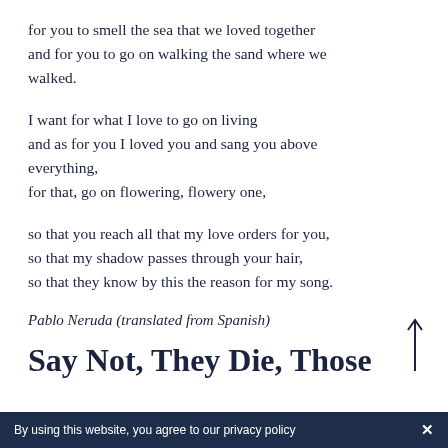for you to smell the sea that we loved together
and for you to go on walking the sand where we
walked.
I want for what I love to go on living
and as for you I loved you and sang you above
everything,
for that, go on flowering, flowery one,
so that you reach all that my love orders for you,
so that my shadow passes through your hair,
so that they know by this the reason for my song.
Pablo Neruda (translated from Spanish)
Say Not, They Die, Those
By using this website, you agree to our privacy policy